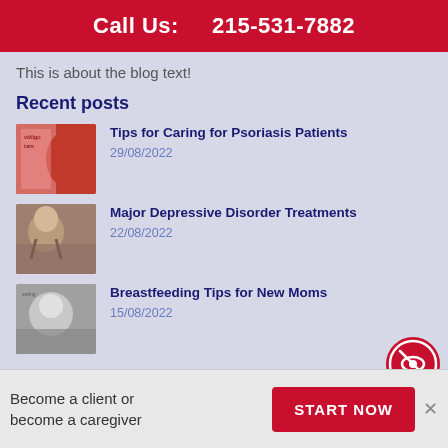Call Us:    215-531-7882
This is about the blog text!
Recent posts
Tips for Caring for Psoriasis Patients
29/08/2022
Major Depressive Disorder Treatments
22/08/2022
Breastfeeding Tips for New Moms
15/08/2022
Categories
Become a client or become a caregiver